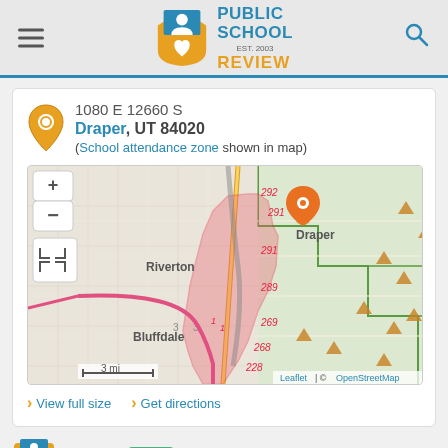Public School Review — EST. 2003
1080 E 12660 S
Draper, UT 84020
(School attendance zone shown in map)
[Figure (map): Interactive map showing Draper, UT area with school attendance zone highlighted in red/pink. Shows Riverton and Bluffdale areas, route numbers 292, 291, 289, 269, 268, 228, and a scale of 3 mi. Orange location pin on Draper. Attribution: Leaflet | © OpenStreetMap]
View full size   Get directions
Rating: 10/10  Top 10%